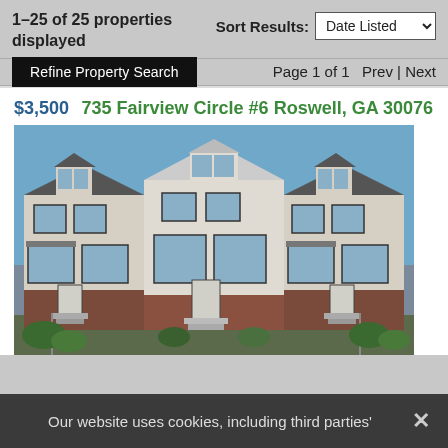1–25 of 25 properties displayed
Sort Results: Date Listed
Refine Property Search
Page 1 of 1   Prev | Next
$3,500   735 Fairview Circle #6 Roswell, GA 30076
[Figure (photo): Exterior photo of modern brick and light-colored stone townhomes with dark-framed windows, dormers, and stairways leading to front entrances.]
Our website uses cookies, including third parties'